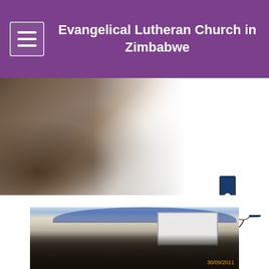Evangelical Lutheran Church in Zimbabwe
[Figure (photo): Large crowd of people gathered outdoors, with a Lutheran Rose cross logo on the right side]
[Figure (photo): Indoor gathering with people standing in a decorated room with blue fabric draped from ceiling and a projection screen, dated 30/09/2011]